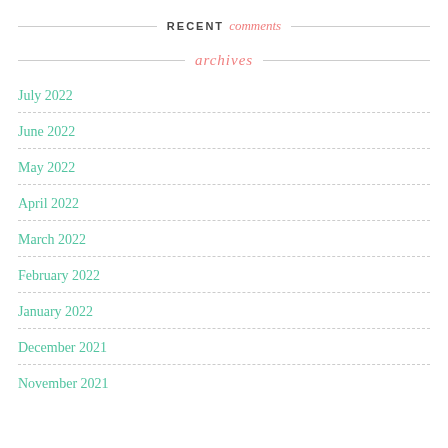RECENT comments
archives
July 2022
June 2022
May 2022
April 2022
March 2022
February 2022
January 2022
December 2021
November 2021